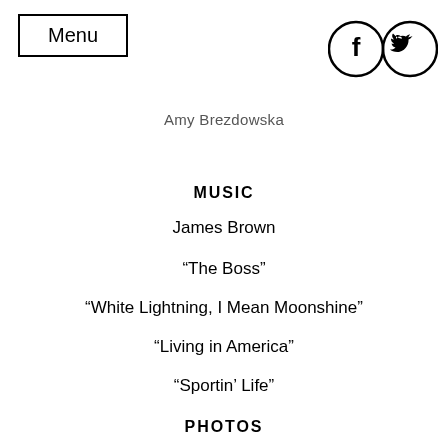Menu
[Figure (other): Facebook and Twitter social media icons in circles]
Amy Brezdowska
MUSIC
James Brown
“The Boss”
“White Lightning, I Mean Moonshine”
“Living in America”
“Sportin’ Life”
PHOTOS
Heinrich Klaffs